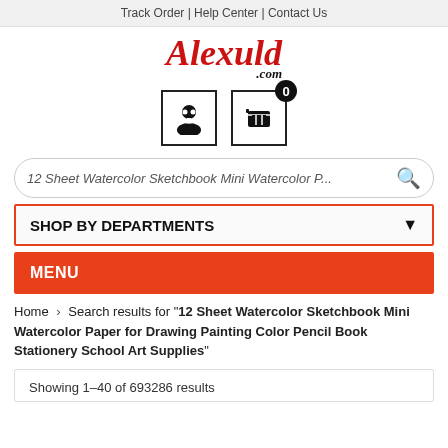Track Order | Help Center | Contact Us
[Figure (logo): Alexuld.com logo in red italic script font]
[Figure (infographic): User account icon and shopping cart icon with badge showing 0]
12 Sheet Watercolor Sketchbook Mini Watercolor P...
SHOP BY DEPARTMENTS
MENU
Home › Search results for "12 Sheet Watercolor Sketchbook Mini Watercolor Paper for Drawing Painting Color Pencil Book Stationery School Art Supplies"
Showing 1–40 of 693286 results